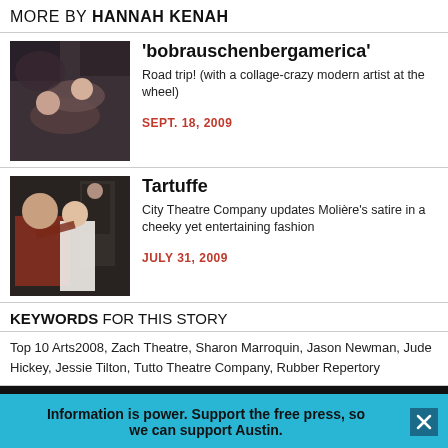MORE BY HANNAH KENAH
[Figure (photo): Two performers on stage lying down close together in a theatrical scene]
'bobrauschenbergamerica'
Road trip! (with a collage-crazy modern artist at the wheel)
SEPT. 18, 2009
[Figure (photo): Three performers on stage in a theatrical scene, one man reaching toward a woman in white]
Tartuffe
City Theatre Company updates Molière's satire in a cheeky yet entertaining fashion
JULY 31, 2009
KEYWORDS FOR THIS STORY
Top 10 Arts2008, Zach Theatre, Sharon Marroquin, Jason Newman, Jude Hickey, Jessie Tilton, Tutto Theatre Company, Rubber Repertory
MORE IN THE ARCHIVES
Information is power. Support the free press, so we can support Austin.